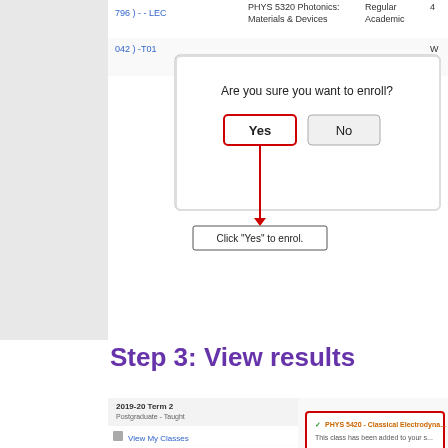[Figure (screenshot): University enrollment system screenshot showing a confirmation dialog 'Are you sure you want to enroll?' with Yes and No buttons, and a tooltip pointing to Yes saying 'Click "Yes" to enrol.']
Step 3: View results
[Figure (screenshot): University enrollment portal showing sidebar menu with options including View My Classes, My Weekly Schedule, Enrolment Dates, Browse Course Catalog, Class Search, Shopping Cart (highlighted), Drop Classes, Swap Classes, Update Classes. Right panel shows success message for PHYS 5420 - Classical Electrodyna... 'This class has been added to your s...' with red border and tooltip 'You will know the re...']